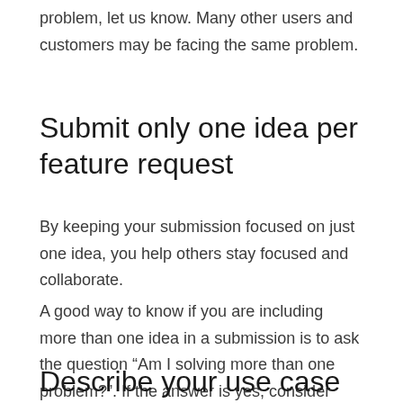problem, let us know. Many other users and customers may be facing the same problem.
Submit only one idea per feature request
By keeping your submission focused on just one idea, you help others stay focused and collaborate.
A good way to know if you are including more than one idea in a submission is to ask the question “Am I solving more than one problem?”. If the answer is yes, consider separating your ideas into more than one submission.
Describe your use case